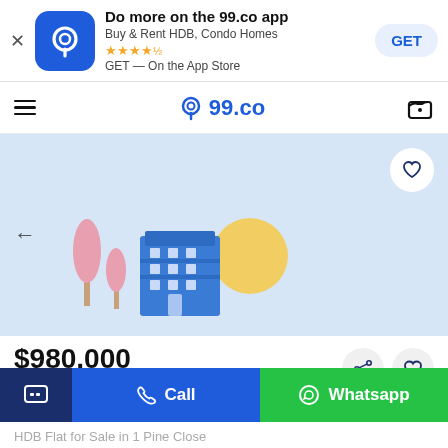[Figure (screenshot): App store banner for 99.co app with icon, title, stars, GET button]
99.co navigation bar with hamburger menu and logo
[Figure (illustration): Property listing hero image with light blue background and illustrated building, trees, sun]
$980,000
Est. mortgage $3,115/mo
Call
Whatsapp
HDB Flat for Sale in 1 Pine Close